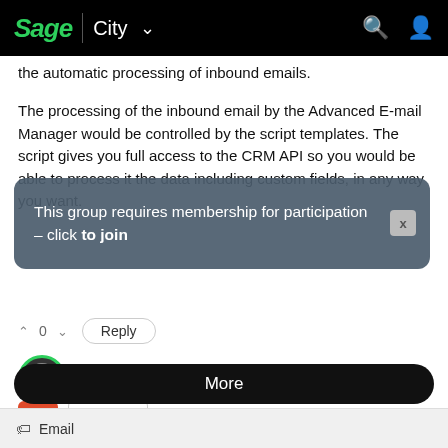Sage City
the automatic processing of inbound emails.
The processing of the inbound email by the Advanced E-mail Manager would be controlled by the script templates. The script gives you full access to the CRM API so you would be able to process it the data including custom fields, in any way you want.
This group requires membership for participation - click to join
^ 0 v   Reply
Sage CRM   26 Aug 2014
+ 0
More
Email